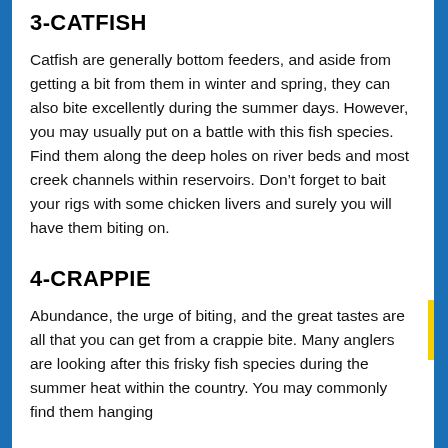3-CATFISH
Catfish are generally bottom feeders, and aside from getting a bit from them in winter and spring, they can also bite excellently during the summer days. However, you may usually put on a battle with this fish species. Find them along the deep holes on river beds and most creek channels within reservoirs. Don’t forget to bait your rigs with some chicken livers and surely you will have them biting on.
4-CRAPPIE
Abundance, the urge of biting, and the great tastes are all that you can get from a crappie bite. Many anglers are looking after this frisky fish species during the summer heat within the country. You may commonly find them hanging